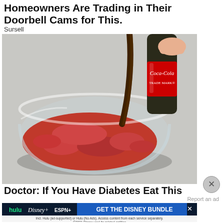Homeowners Are Trading in Their Doorbell Cams for This.
Sursell
[Figure (photo): A glass bowl filled with red powder with Coca-Cola being poured from a glass bottle into it, on a light gray surface.]
Doctor: If You Have Diabetes Eat This
Report an ad
[Figure (infographic): Disney Bundle advertisement banner showing Hulu, Disney+, and ESPN+ logos with 'GET THE DISNEY BUNDLE' call to action. Fine print: Incl. Hulu (ad-supported) or Hulu (No Ads). Access content from each service separately. ©2021 Disney and its related entities]